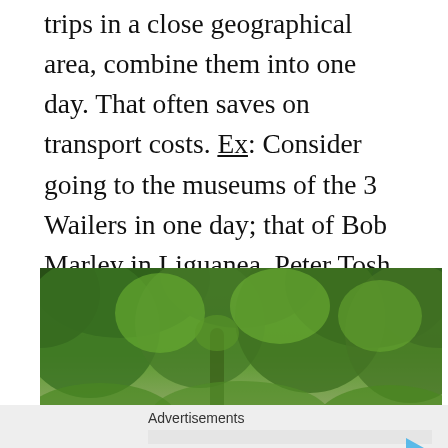trips in a close geographical area, combine them into one day. That often saves on transport costs. Ex: Consider going to the museums of the 3 Wailers in one day; that of Bob Marley in Liguanea, Peter Tosh in New Kingston and Bunny Wailer in Washington Gardens.
[Figure (photo): A lush tropical forest scene with large rocks and a stream in the foreground, dense green vegetation and trees in the background]
Advertisements